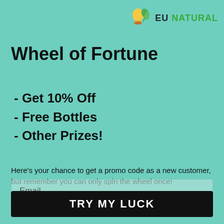[Figure (logo): Eu Natural logo with a light bulb and leaf icon, text reading EU NATURAL]
Wheel of Fortune
- Get 10% Off
- Free Bottles
- Other Prizes!
Here's your chance to get a promo code as a new customer, but remember you can only spin the wheel once!
Email
TRY MY LUCK